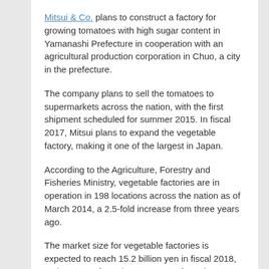Mitsui & Co. plans to construct a factory for growing tomatoes with high sugar content in Yamanashi Prefecture in cooperation with an agricultural production corporation in Chuo, a city in the prefecture.
The company plans to sell the tomatoes to supermarkets across the nation, with the first shipment scheduled for summer 2015. In fiscal 2017, Mitsui plans to expand the vegetable factory, making it one of the largest in Japan.
According to the Agriculture, Forestry and Fisheries Ministry, vegetable factories are in operation in 198 locations across the nation as of March 2014, a 2.5-fold increase from three years ago.
The market size for vegetable factories is expected to reach 15.2 billion yen in fiscal 2018, an increase of nearly 100 percent from the 7.9 billion yen posted in fiscal 2012.
Another factor behind the increase in corporations entering the business is the central government's support for vegetable factory development since 2008.